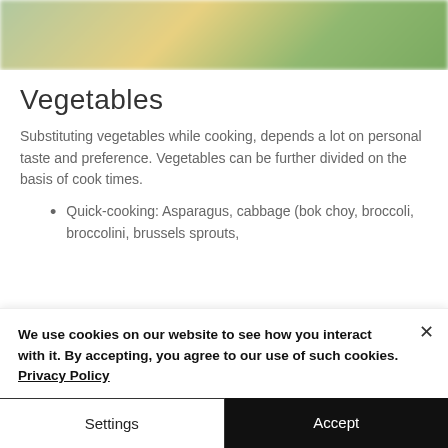[Figure (photo): Blurred photo of vegetables including green and yellow produce]
Vegetables
Substituting vegetables while cooking, depends a lot on personal taste and preference. Vegetables can be further divided on the basis of cook times.
Quick-cooking: Asparagus, cabbage (bok choy, broccoli, broccolini, brussels sprouts,
We use cookies on our website to see how you interact with it. By accepting, you agree to our use of such cookies. Privacy Policy